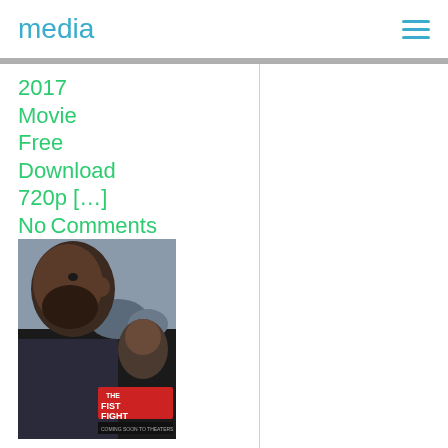media
2017 Movie Free Download 720p […]
No Comments
[Figure (photo): Movie poster for Fist Fight 2017 showing a bearded man in close-up with red title text]
Fist Fight 2017
In English